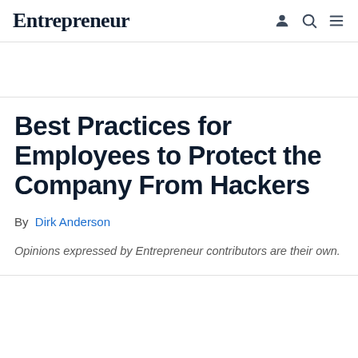Entrepreneur
Best Practices for Employees to Protect the Company From Hackers
By Dirk Anderson
Opinions expressed by Entrepreneur contributors are their own.